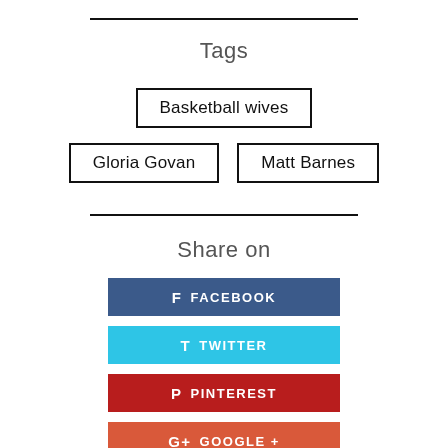Tags
Basketball wives
Gloria Govan
Matt Barnes
Share on
FACEBOOK
TWITTER
PINTEREST
GOOGLE +